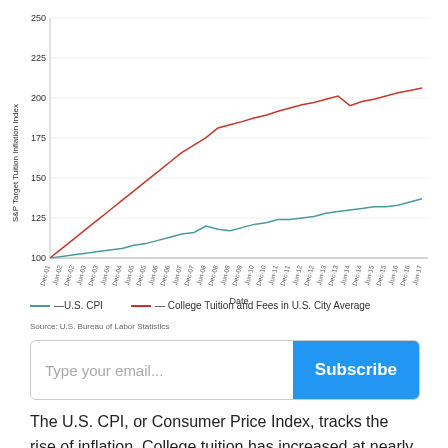[Figure (line-chart): ]
Type your email...
Subscribe
The U.S. CPI, or Consumer Price Index, tracks the rise of inflation. College tuition has increased at nearly double the rate of inflation, and this graph only shows data through June of 2017.